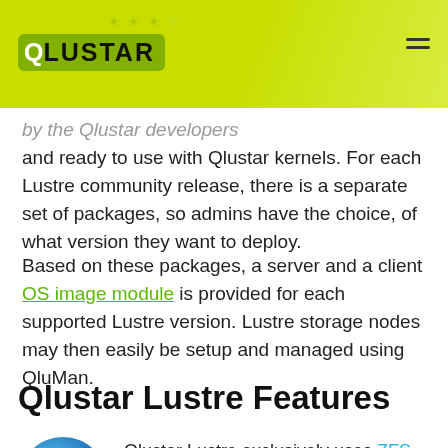QLUSTAR
by the Qlustar developers and ready to use with Qlustar kernels. For each Lustre community release, there is a separate set of packages, so admins have the choice, of what version they want to deploy.
Based on these packages, a server and a client OS image module is provided for each supported Lustre version. Lustre storage nodes may then easily be setup and managed using QluMan.
Qlustar Lustre Features
[Figure (illustration): Blue circular icon with white star in center — Lustre/ZFS feature illustration]
Qlustar Lustre exclusively uses ZFS as the backend filesystem. This allows to